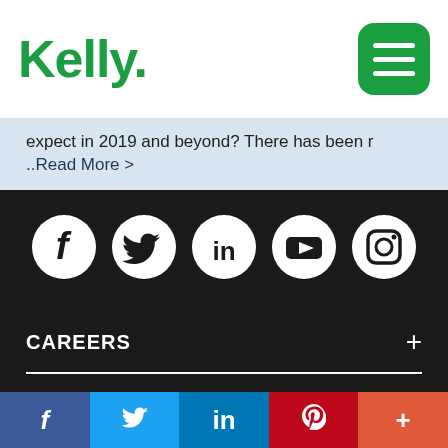Kelly
expect in 2019 and beyond? There has been r ..Read More >
[Figure (infographic): Social media icons row: Facebook, Twitter, LinkedIn, YouTube, Instagram — white circles on dark background]
CAREERS +
BUSINESS SERVICES +
[Figure (infographic): Bottom social share bar with Facebook (dark blue), Twitter (light blue), LinkedIn (blue), Pinterest (red), More (orange-red) buttons]